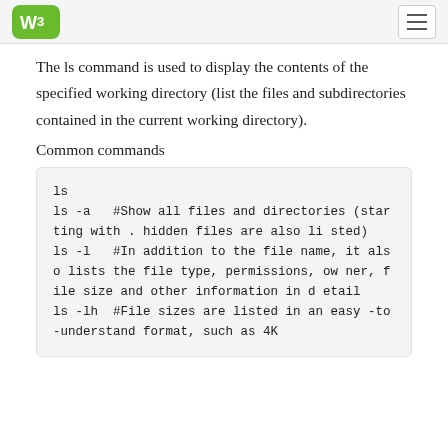W3Schools logo and navigation menu
The ls command is used to display the contents of the specified working directory (list the files and subdirectories contained in the current working directory).
Common commands
ls
ls -a   #Show all files and directories (starting with . hidden files are also listed)
ls -l   #In addition to the file name, it also lists the file type, permissions, owner, file size and other information in detail
ls -lh  #File sizes are listed in an easy-to-understand format, such as 4K